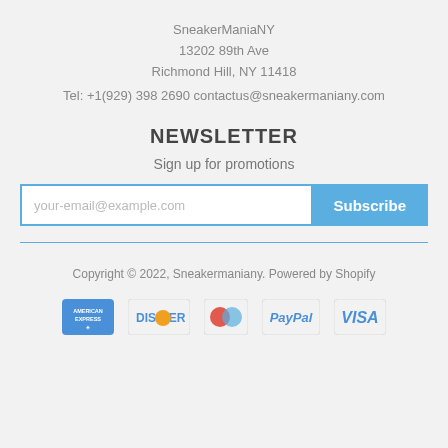SneakerManiaNY
13202 89th Ave
Richmond Hill, NY 11418
Tel: +1(929) 398 2690 contactus@sneakermaniany.com
NEWSLETTER
Sign up for promotions
[Figure (other): Email subscription form with input field placeholder 'your-email@example.com' and a blue Subscribe button]
Copyright © 2022, Sneakermaniany. Powered by Shopify
[Figure (other): Payment method logos: American Express, Discover, Mastercard, PayPal, Visa]